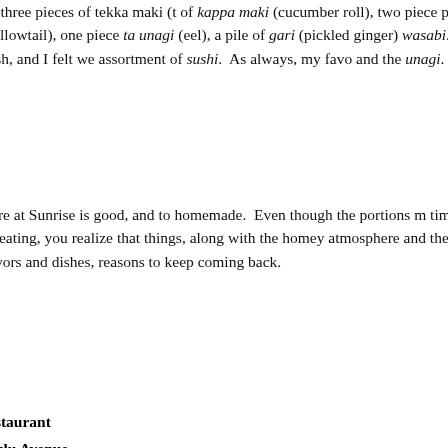It contained three pieces of tekka maki (t of kappa maki (cucumber roll), two piece pieces hamachi (yellowtail), one piece ta unagi (eel), a pile of gari (pickled ginger) wasabi. The fish was fresh, and I felt we assortment of sushi. As always, my favo and the unagi.
The food here at Sunrise is good, and to homemade. Even though the portions m time you're done eating, you realize that things, along with the homey atmosphere and the not-so-usual flavors and dishes, reasons to keep coming back.
Sunrise Restaurant
525 Kapahulu Avenue
Telephone: 808.737.4118
August 27, 2005 in Kapahulu, Okinawan, Sushi | R TrackBack (0)
August 09, 2005
Rai Rai Ramen